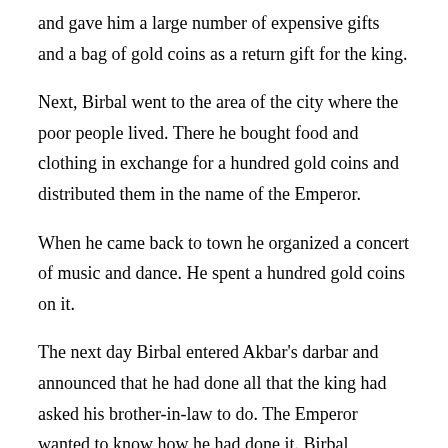and gave him a large number of expensive gifts and a bag of gold coins as a return gift for the king.
Next, Birbal went to the area of the city where the poor people lived. There he bought food and clothing in exchange for a hundred gold coins and distributed them in the name of the Emperor.
When he came back to town he organized a concert of music and dance. He spent a hundred gold coins on it.
The next day Birbal entered Akbar's darbar and announced that he had done all that the king had asked his brother-in-law to do. The Emperor wanted to know how he had done it. Birbal repeated the sequences of all the events and then said, “The money I gave to the merchant for the